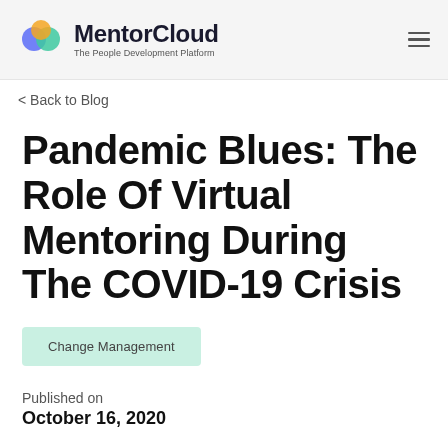MentorCloud — The People Development Platform
< Back to Blog
Pandemic Blues: The Role Of Virtual Mentoring During The COVID-19 Crisis
Change Management
Published on
October 16, 2020